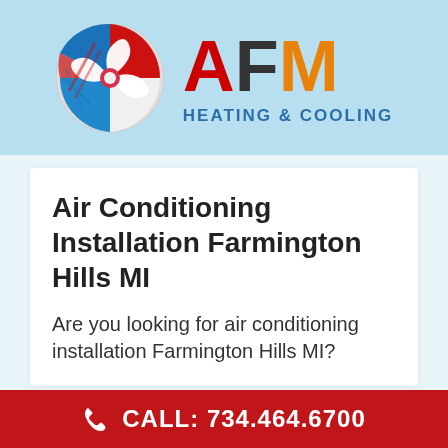[Figure (logo): AFM Heating & Cooling logo with circular fan/HVAC graphic in red, white, blue colors and AFM text in red, dark, and orange with 'HEATING & COOLING' subtitle in blue]
Air Conditioning Installation Farmington Hills MI
Are you looking for air conditioning installation Farmington Hills MI?
If you need your property to be a cool retreat from the summer heat, but your air conditioning
CALL: 734.464.6700